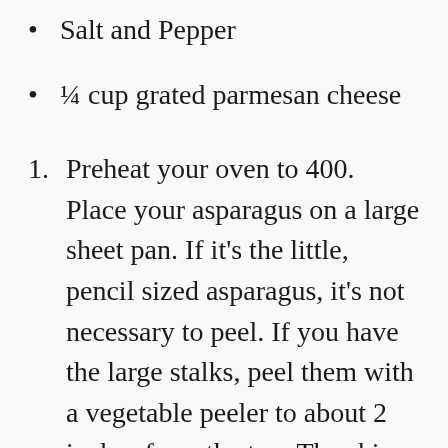Salt and Pepper
¼ cup grated parmesan cheese
1. Preheat your oven to 400. Place your asparagus on a large sheet pan. If it's the little, pencil sized asparagus, it's not necessary to peel. If you have the large stalks, peel them with a vegetable peeler to about 2 inches from the top. The skin can be tough so I like to peel it off!
2. Drizzle olive oil over your asparagus and toss it around. Sprinkle with salt and pepper and sprinkle with the